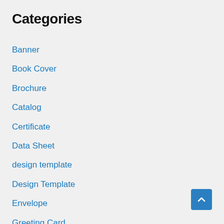Categories
Banner
Book Cover
Brochure
Catalog
Certificate
Data Sheet
design template
Design Template
Envelope
Greeting Card
ID Card
Invitation